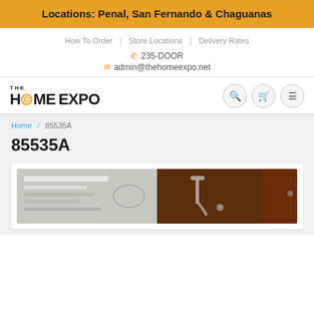Locations: Penal, San Fernando & Chaguanas
How To Order | Store Locations | Delivery Rates
235-DOOR
admin@thehomeexpo.net
[Figure (logo): The Home Expo logo with target/crosshair icon replacing the O in HOME, followed by EXPO text]
Breadcrumb: Home / 85535A
85535A
[Figure (photo): Blurred product image showing packaging labels and a faucet or fixture on a dark background]